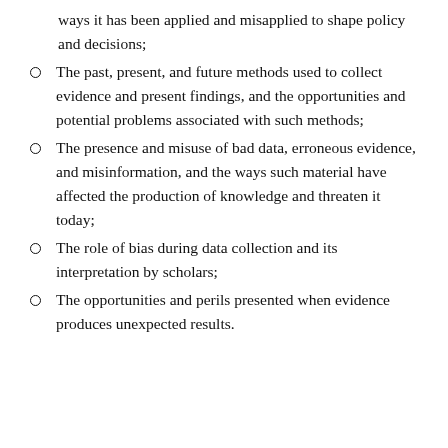ways it has been applied and misapplied to shape policy and decisions;
The past, present, and future methods used to collect evidence and present findings, and the opportunities and potential problems associated with such methods;
The presence and misuse of bad data, erroneous evidence, and misinformation, and the ways such material have affected the production of knowledge and threaten it today;
The role of bias during data collection and its interpretation by scholars;
The opportunities and perils presented when evidence produces unexpected results.